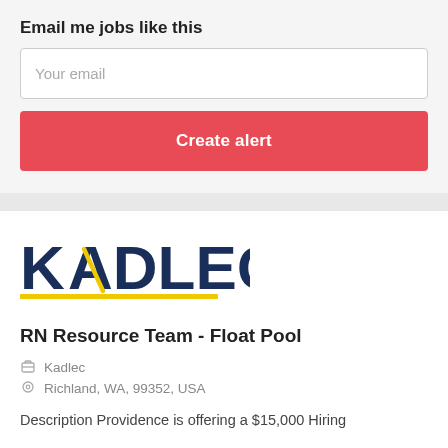Email me jobs like this
Your email
Create alert
[Figure (logo): Kadlec logo with dark navy blue text and yellow underline accent]
RN Resource Team - Float Pool
Kadlec
Richland, WA, 99352, USA
Description Providence is offering a $15,000 Hiring